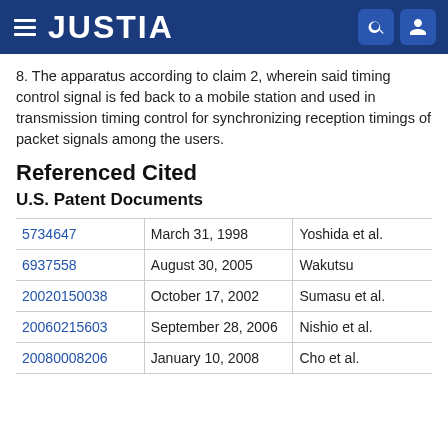JUSTIA
8. The apparatus according to claim 2, wherein said timing control signal is fed back to a mobile station and used in transmission timing control for synchronizing reception timings of packet signals among the users.
Referenced Cited
U.S. Patent Documents
| 5734647 | March 31, 1998 | Yoshida et al. |
| 6937558 | August 30, 2005 | Wakutsu |
| 20020150038 | October 17, 2002 | Sumasu et al. |
| 20060215603 | September 28, 2006 | Nishio et al. |
| 20080008206 | January 10, 2008 | Cho et al. |